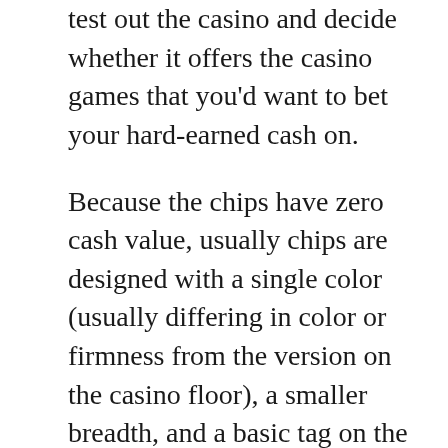test out the casino and decide whether it offers the casino games that you'd want to bet your hard-earned cash on.
Because the chips have zero cash value, usually chips are designed with a single color (usually differing in color or firmness from the version on the casino floor), a smaller breadth, and a basic tag on the inside to distinguish denominations; nevertheless, at particular occasions (like as the Globe Collection of Texas hold’em or various other televised texas